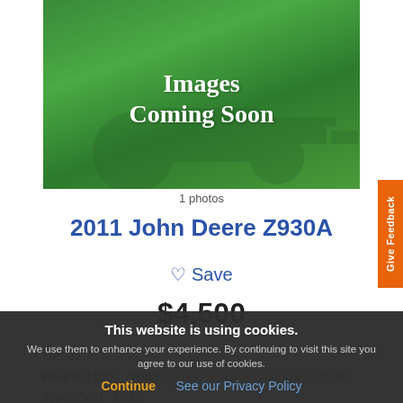[Figure (photo): Green 'Images Coming Soon' placeholder showing a tractor silhouette on a green background]
1 photos
2011 John Deere Z930A
♡ Save
$4,500
HP: 25
Hours: 1150
Width: 60 in. Engine Type: Gas Drive Type: 2WD CALL
This website is using cookies. We use them to enhance your experience. By continuing to visit this site you agree to our use of cookies. Continue  See our Privacy Policy
Give Feedback